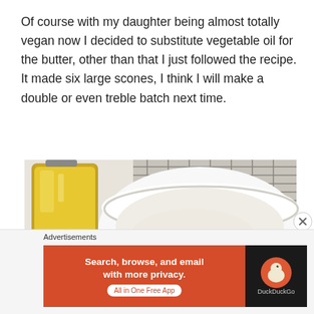Of course with my daughter being almost totally vegan now I decided to substitute vegetable oil for the butter, other than that I just followed the recipe. It made six large scones, I think I will make a double or even treble batch next time.
[Figure (photo): Close-up photo of baking ingredients including a jar of golden vegetable oil, a white mixing bowl with flour or similar white powder, on a wire cooling rack and white surface.]
Advertisements
[Figure (screenshot): DuckDuckGo advertisement banner with orange/red background. Left side reads 'Search, browse, and email with more privacy. All in One Free App'. Right side shows DuckDuckGo logo (duck icon) on dark background with DuckDuckGo text.]